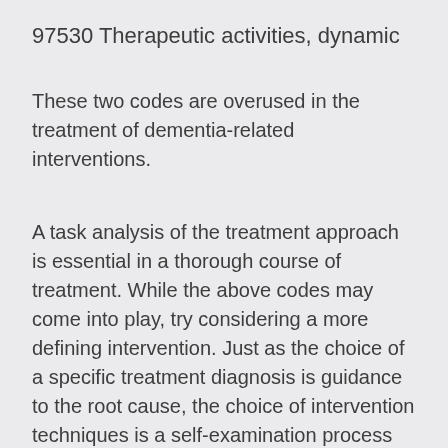97530 Therapeutic activities, dynamic
These two codes are overused in the treatment of dementia-related interventions.
A task analysis of the treatment approach is essential in a thorough course of treatment. While the above codes may come into play, try considering a more defining intervention. Just as the choice of a specific treatment diagnosis is guidance to the root cause, the choice of intervention techniques is a self-examination process for the therapist and